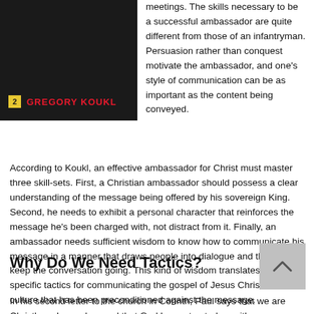[Figure (photo): Book cover for Gregory Koukl with dark background and author name in red text with yellow icon]
meetings. The skills necessary to be a successful ambassador are quite different from those of an infantryman. Persuasion rather than conquest motivate the ambassador, and one's style of communication can be as important as the content being conveyed.
According to Koukl, an effective ambassador for Christ must master three skill-sets. First, a Christian ambassador should possess a clear understanding of the message being offered by his sovereign King. Second, he needs to exhibit a personal character that reinforces the message he's been charged with, not distract from it. Finally, an ambassador needs sufficient wisdom to know how to communicate his message in a manner that draws people into dialogue and then to keep the conversation going. This kind of wisdom translates into specific tactics for communicating the gospel of Jesus Christ to a culture that has been preconditioned against the message.
Why Do We Need Tactics?
In his second letter to the church in Corinth, Paul says that we are Christ's ambassadors and that God has entrusted us with a message of